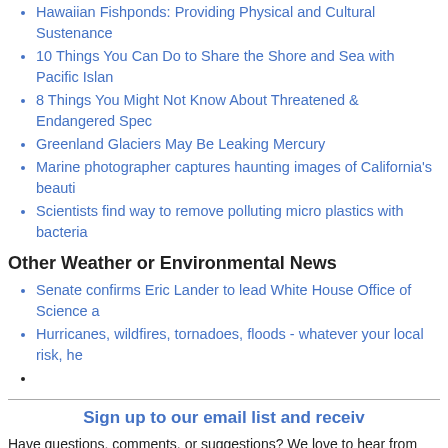Hawaiian Fishponds: Providing Physical and Cultural Sustenance
10 Things You Can Do to Share the Shore and Sea with Pacific Islan...
8 Things You Might Not Know About Threatened & Endangered Spec...
Greenland Glaciers May Be Leaking Mercury
Marine photographer captures haunting images of California's beauti...
Scientists find way to remove polluting micro plastics with bacteria
Other Weather or Environmental News
Senate confirms Eric Lander to lead White House Office of Science a...
Hurricanes, wildfires, tornadoes, floods - whatever your local risk, he...
Sign up to our email list and receiv...
Have questions, comments, or suggestions? We love to hear from you! Ema...
Event/announcement title
Date and time if applicable
One paragraph description
Link or email address for more information